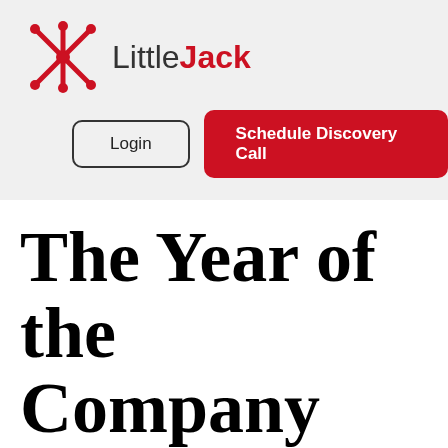[Figure (logo): LittleJack logo with red asterisk/jack figure and company name in grey and red]
Login
Schedule Discovery Call
The Year of the Company Story: Five Strategies for